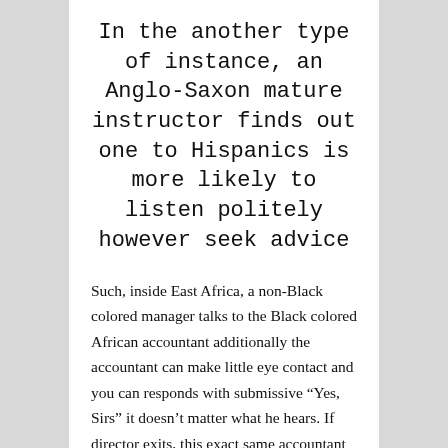In the another type of instance, an Anglo-Saxon mature instructor finds out one to Hispanics is more likely to listen politely however seek advice
Such, inside East Africa, a non-Black colored manager talks to the Black colored African accountant additionally the accountant can make little eye contact and you can responds with submissive “Yes, Sirs” it doesn’t matter what he hears. If director exits, this exact same accountant makes plenty of eye contact and that is full out-of ideas and you will creativity